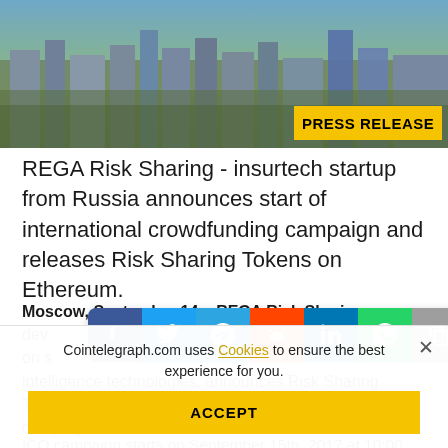[Figure (photo): Aerial cityscape photo of a Russian city (Moscow skyline with buildings and streets), with a yellow 'PRESS RELEASE' badge in the bottom-right corner.]
REGA Risk Sharing - insurtech startup from Russia announces start of international crowdfunding campaign and releases Risk Sharing Tokens on Ethereum.
Moscow, September 14 – REGA Risk Sharing - developer of a peer-to-peer insurance platform based on smart contracts and artificial intelligence technologies, announces Risk Sharing Tokens (RST) release and the start of the international REGA ICO campaign.
[Figure (other): Social media share buttons bar: Facebook (blue), Twitter (blue), Telegram (teal), Reddit (orange), LinkedIn (blue), WhatsApp (green), Copy (gray), Scroll-up (yellow/gold).]
Cointelegraph.com uses Cookies to ensure the best experience for you.
ACCEPT
ICO campaign starts on September 15th, 2017 at 10:00